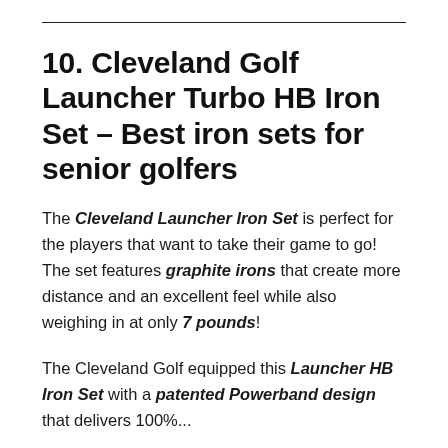10. Cleveland Golf Launcher Turbo HB Iron Set – Best iron sets for senior golfers
The Cleveland Launcher Iron Set is perfect for the players that want to take their game to go! The set features graphite irons that create more distance and an excellent feel while also weighing in at only 7 pounds!
The Cleveland Golf equipped this Launcher HB Iron Set with a patented Powerband design that delivers 100%...